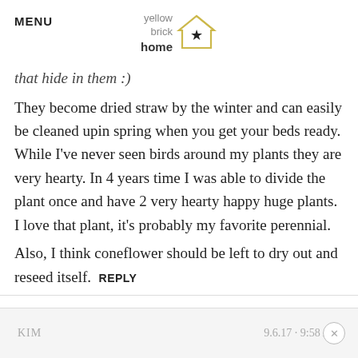MENU | yellow brick home [logo]
that hide in them :)
They become dried straw by the winter and can easily be cleaned upin spring when you get your beds ready. While I've never seen birds around my plants they are very hearty. In 4 years time I was able to divide the plant once and have 2 very hearty happy huge plants. I love that plant, it's probably my favorite perennial.
Also, I think coneflower should be left to dry out and reseed itself.  REPLY
KIM  9.6.17 · 9:58 AM